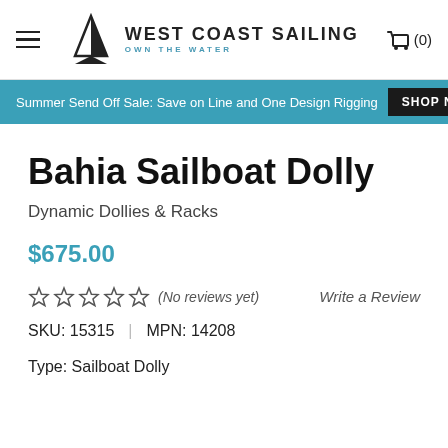WEST COAST SAILING — OWN THE WATER
Summer Send Off Sale: Save on Line and One Design Rigging  SHOP NOW
Bahia Sailboat Dolly
Dynamic Dollies & Racks
$675.00
★★★★★ (No reviews yet)   Write a Review
SKU: 15315  |  MPN: 14208
Type: Sailboat Dolly